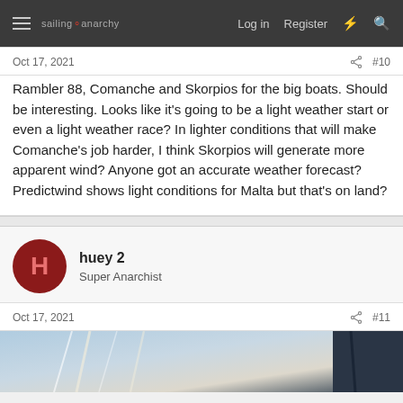sailing anarchy | Log in | Register
Oct 17, 2021 #10
Rambler 88, Comanche and Skorpios for the big boats. Should be interesting. Looks like it's going to be a light weather start or even a light weather race? In lighter conditions that will make Comanche's job harder, I think Skorpios will generate more apparent wind? Anyone got an accurate weather forecast? Predictwind shows light conditions for Malta but that's on land?
huey 2
Super Anarchist
Oct 17, 2021 #11
[Figure (photo): Partial view of a sailing boat rigging and sails against blue sky]